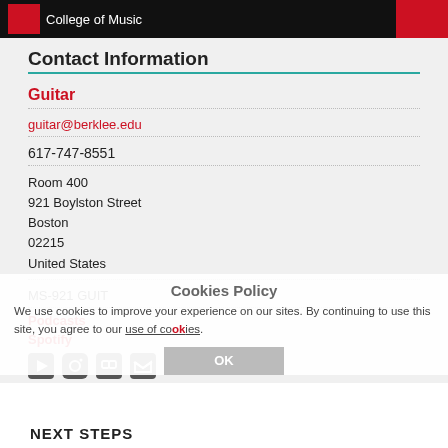College of Music
Contact Information
Guitar
guitar@berklee.edu
617-747-8551
Room 400
921 Boylston Street
Boston
02215
United States
MS-921 GUIT
Podcasts
Spotify
Cookies Policy
We use cookies to improve your experience on our sites. By continuing to use this site, you agree to our use of cookies.
OK
NEXT STEPS